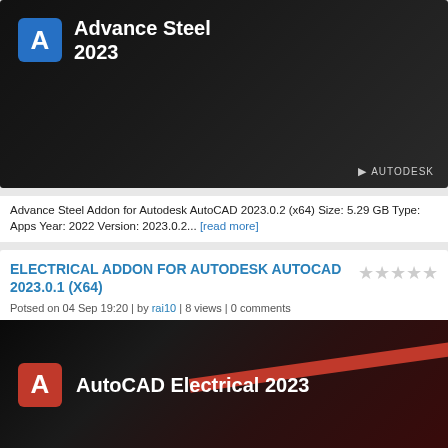[Figure (photo): Advance Steel 2023 splash screen with Autodesk logo on dark background, showing blue 'A' icon and product name]
Advance Steel Addon for Autodesk AutoCAD 2023.0.2 (x64) Size: 5.29 GB Type: Apps Year: 2022 Version: 2023.0.2... [read more]
ELECTRICAL ADDON FOR AUTODESK AUTOCAD 2023.0.1 (X64)
Potsed on 04 Sep 19:20 | by rai10 | 8 views | 0 comments
[Figure (photo): AutoCAD Electrical 2023 splash screen with red stripe on dark background, showing red 'A' icon and product name]